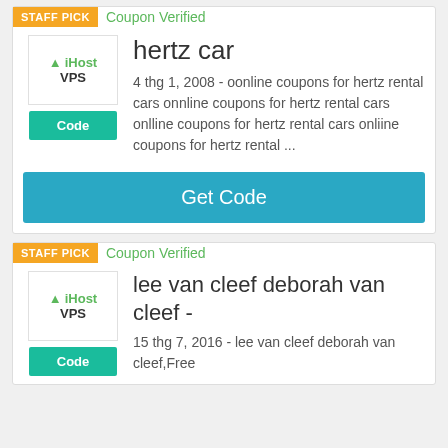[Figure (logo): iHost VPS logo with green tree icon]
STAFF PICK
Coupon Verified
hertz car
4 thg 1, 2008 - oonline coupons for hertz rental cars onnline coupons for hertz rental cars onlline coupons for hertz rental cars onliine coupons for hertz rental ...
Code
Get Code
STAFF PICK
Coupon Verified
lee van cleef deborah van cleef -
15 thg 7, 2016 - lee van cleef deborah van cleef,Free
Code